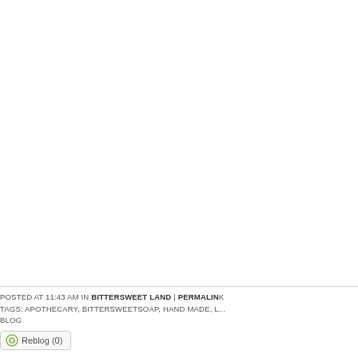POSTED AT 11:43 AM IN BITTERSWEET LAND | PERMALINK
TAGS: APOTHECARY, BITTERSWEETSOAP, HAND MADE, L... BLOG
Reblog (0)